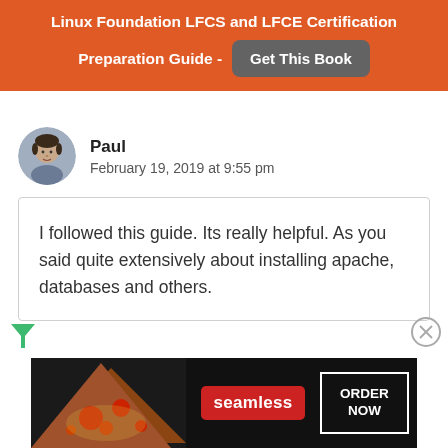Linux Foundation LFCS and LFCE Certification Preparation Guide - Get This Book
[Figure (photo): Avatar photo of commenter Paul — circular profile picture of a young man]
Paul
February 19, 2019 at 9:55 pm
I followed this guide. Its really helpful. As you said quite extensively about installing apache, databases and others.
[Figure (photo): Seamless food delivery advertisement banner with pizza image, seamless logo, and ORDER NOW button]